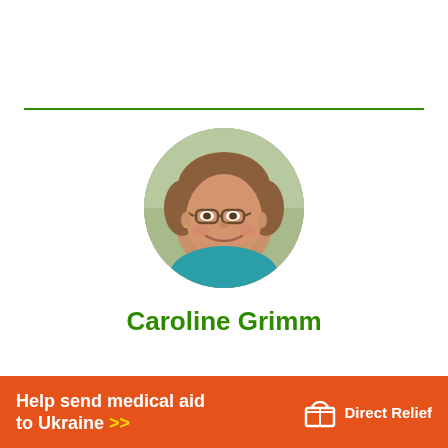[Figure (photo): Circular portrait photo of Caroline Grimm, a woman with brown hair and glasses, smiling, wearing a teal top, outdoors with green background]
Caroline Grimm
[Figure (logo): Direct Relief logo with box/gift icon and text 'Direct Relief' in white on orange banner]
Help send medical aid to Ukraine >>